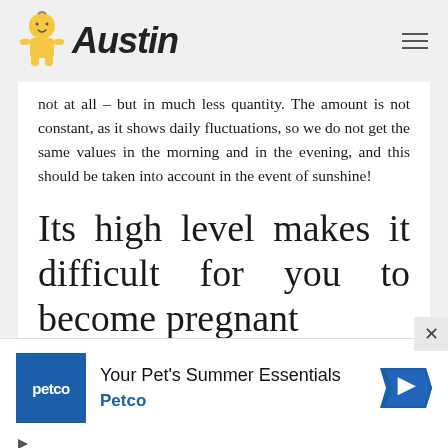Austin
not at all – but in much less quantity. The amount is not constant, as it shows daily fluctuations, so we do not get the same values in the morning and in the evening, and this should be taken into account in the event of sunshine!
Its high level makes it difficult for you to become pregnant
Pregnancy can cause elevated levels of
[Figure (illustration): Petco advertisement banner with logo, text 'Your Pet's Summer Essentials Petco' and navigation arrow icon]